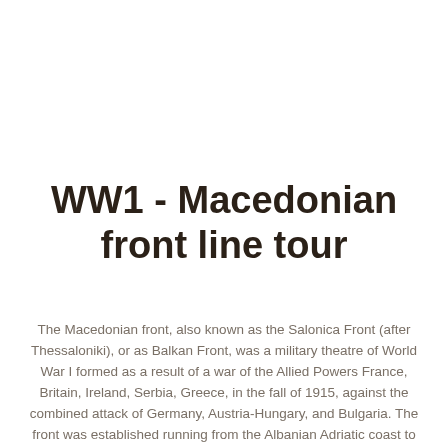WW1 - Macedonian front line tour
The Macedonian front, also known as the Salonica Front (after Thessaloniki), or as Balkan Front, was a military theatre of World War I formed as a result of a war of the Allied Powers France, Britain, Ireland, Serbia, Greece, in the fall of 1915, against the combined attack of Germany, Austria-Hungary, and Bulgaria. The front was established running from the Albanian Adriatic coast to Struma River, pitting a multinational Allied force against the Bulgarian Army, supported by smaller units from the other Central Powers. The Macedonian Front remained quite stable, despite local actions, until the great Allied offensive in September 1918,